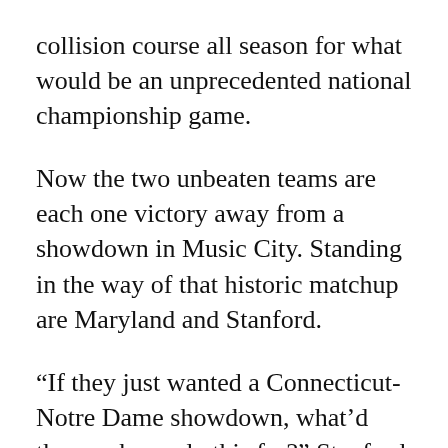collision course all season for what would be an unprecedented national championship game.
Now the two unbeaten teams are each one victory away from a showdown in Music City. Standing in the way of that historic matchup are Maryland and Stanford.
“If they just wanted a Connecticut-Notre Dame showdown, what’d they make us do this for?” Stanford coach Tara VanDerveer quipped.
The Cardinal will face the top-seeded Huskies while the Irish will play the